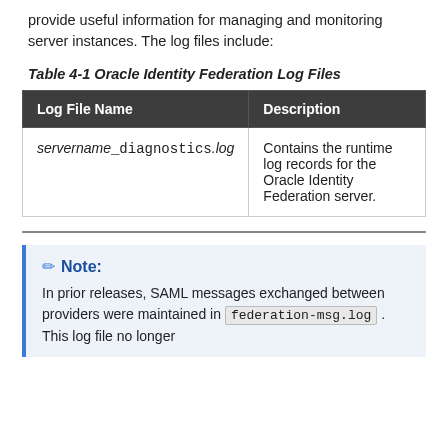provide useful information for managing and monitoring server instances. The log files include:
Table 4-1 Oracle Identity Federation Log Files
| Log File Name | Description |
| --- | --- |
| servername_diagnostics.log | Contains the runtime log records for the Oracle Identity Federation server. |
Note: In prior releases, SAML messages exchanged between providers were maintained in federation-msg.log . This log file no longer ...